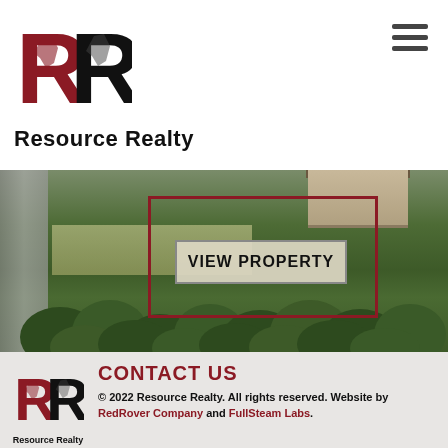[Figure (logo): Resource Realty double-R logo in red and black]
Resource Realty
[Figure (photo): Aerial photograph of property showing trees, fields, road, and building with VIEW PROPERTY button overlay]
[Figure (logo): Resource Realty footer logo in red and black]
CONTACT US
© 2022 Resource Realty. All rights reserved. Website by RedRover Company and FullSteam Labs.